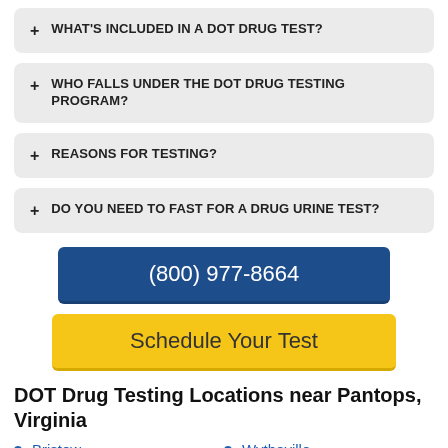+ WHAT'S INCLUDED IN A DOT DRUG TEST?
+ WHO FALLS UNDER THE DOT DRUG TESTING PROGRAM?
+ REASONS FOR TESTING?
+ DO YOU NEED TO FAST FOR A DRUG URINE TEST?
(800) 977-8664
Schedule Your Test
DOT Drug Testing Locations near Pantops, Virginia
Bristow
Wytheville
New River
Ruckersville